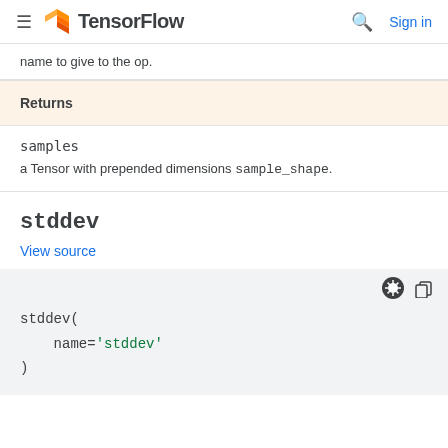TensorFlow — Sign in
name to give to the op.
| Returns |
| --- |
| samples | a Tensor with prepended dimensions sample_shape. |
stddev
View source
stddev(
    name='stddev'
)